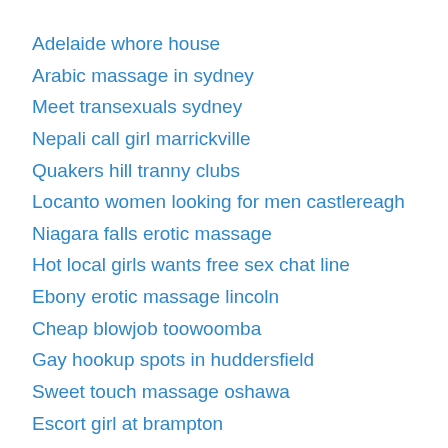Adelaide whore house
Arabic massage in sydney
Meet transexuals sydney
Nepali call girl marrickville
Quakers hill tranny clubs
Locanto women looking for men castlereagh
Niagara falls erotic massage
Hot local girls wants free sex chat line
Ebony erotic massage lincoln
Cheap blowjob toowoomba
Gay hookup spots in huddersfield
Sweet touch massage oshawa
Escort girl at brampton